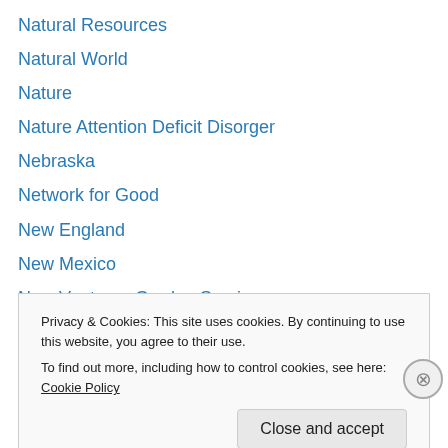Natural Resources
Natural World
Nature
Nature Attention Deficit Disorger
Nebraska
Network for Good
New England
New Mexico
New Ventures Garden Seminar
New Ventures Gardening Seminar
New York City
Newspaper
Newspapers
Privacy & Cookies: This site uses cookies. By continuing to use this website, you agree to their use.
To find out more, including how to control cookies, see here: Cookie Policy